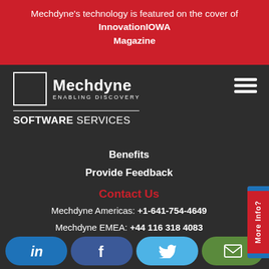Mechdyne’s technology is featured on the cover of InnovationIOWA Magazine
[Figure (logo): Mechdyne logo with square icon, tagline ENABLING DISCOVERY, and SOFTWARE SERVICES text below]
[Figure (other): Hamburger menu icon (three horizontal lines)]
Benefits
Provide Feedback
Contact Us
Mechdyne Americas: +1-641-754-4649
Mechdyne EMEA: +44 116 318 4083
[Figure (other): More Info? tab on right side]
Social media icons: LinkedIn, Facebook, Twitter, Email